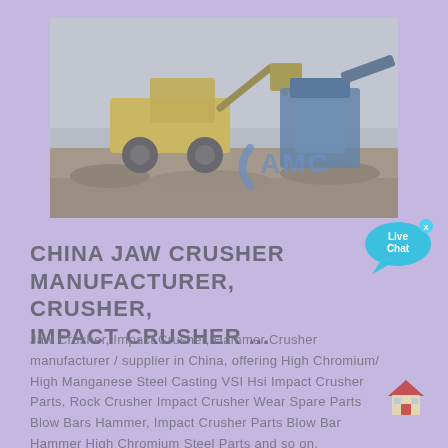[Figure (photo): Outdoor industrial scene showing a yellow wheel loader/bulldozer loading material into a crusher or screening machine. Blue crushing/screening equipment visible on the right. 'AMC' logo overlaid in lower right of the image. Overcast sky background, gravel/rubble ground.]
[Figure (illustration): Live Chat speech bubble icon in cyan/blue with text 'Live Chat' and a small 'x' close button in the upper right corner.]
CHINA JAW CRUSHER MANUFACTURER, CRUSHER, IMPACT CRUSHER ...
Jaw Crusher, Impact Crusher, Hammer Crusher manufacturer / supplier in China, offering High Chromium/ High Manganese Steel Casting VSI Hsi Impact Crusher Parts, Rock Crusher Impact Crusher Wear Spare Parts Blow Bars Hammer, Impact Crusher Parts Blow Bar Hammer High Chromium Steel Parts and so on.
[Figure (illustration): Small house/home icon in red and beige colors, representing a home or building emoji.]